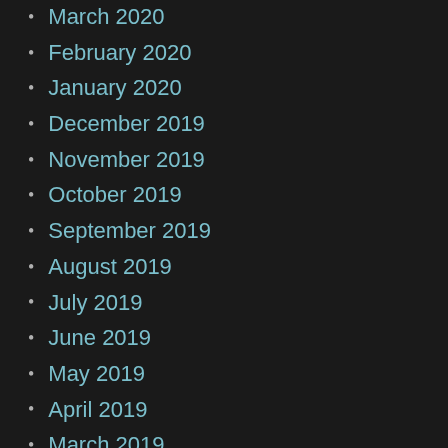March 2020
February 2020
January 2020
December 2019
November 2019
October 2019
September 2019
August 2019
July 2019
June 2019
May 2019
April 2019
March 2019
February 2019
November 2018
October 2018
September 2018